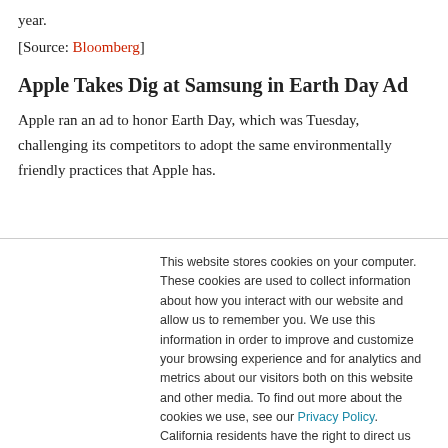year.
[Source: Bloomberg]
Apple Takes Dig at Samsung in Earth Day Ad
Apple ran an ad to honor Earth Day, which was Tuesday, challenging its competitors to adopt the same environmentally friendly practices that Apple has.
This website stores cookies on your computer. These cookies are used to collect information about how you interact with our website and allow us to remember you. We use this information in order to improve and customize your browsing experience and for analytics and metrics about our visitors both on this website and other media. To find out more about the cookies we use, see our Privacy Policy. California residents have the right to direct us not to sell their personal information to third parties by filing an Opt-Out Request: Do Not Sell My Personal Info.
Accept